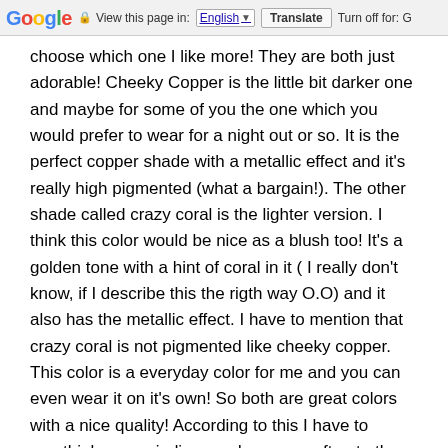Google  View this page in: English [▼]  Translate  Turn off for: G
choose which one I like more! They are both just adorable! Cheeky Copper is the little bit darker one and maybe for some of you the one which you would prefer to wear for a night out or so. It is the perfect copper shade with a metallic effect and it's really high pigmented (what a bargain!). The other shade called crazy coral is the lighter version. I think this color would be nice as a blush too! It's a golden tone with a hint of coral in it ( I really don't know, if I describe this the rigth way O.O) and it also has the metallic effect. I have to mention that crazy coral is not pigmented like cheeky copper. This color is a everyday color for me and you can even wear it on it's own! So both are great colors with a nice quality! According to this I have to overthink my prejudices and go more often to the p2 stand-up display!
Today was my housework day, I cleaned up everything and did the laundry. After that I went a bit shopping because I needed some birthday presents ( I made some really really good deals at TK maxx!). And